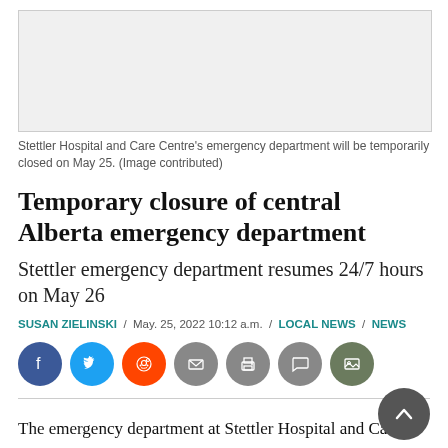[Figure (photo): Image of Stettler Hospital and Care Centre]
Stettler Hospital and Care Centre's emergency department will be temporarily closed on May 25. (Image contributed)
Temporary closure of central Alberta emergency department
Stettler emergency department resumes 24/7 hours on May 26
SUSAN ZIELINSKI / May. 25, 2022 10:12 a.m. / LOCAL NEWS / NEWS
[Figure (infographic): Social sharing icons: Facebook, Twitter, Reddit, Email, Print, Comment, Gallery]
The emergency department at Stettler Hospital and Care